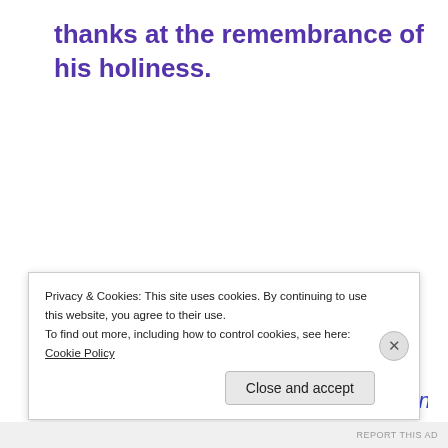thanks at the remembrance of his holiness.
Proverbs 16.5
Every one that is proud in heart is an abomination to
Privacy & Cookies: This site uses cookies. By continuing to use this website, you agree to their use.
To find out more, including how to control cookies, see here: Cookie Policy
Close and accept